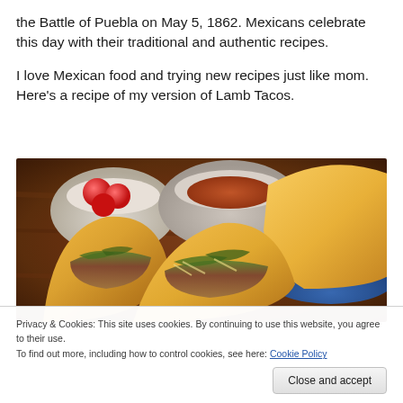the Battle of Puebla on May 5, 1862. Mexicans celebrate this day with their traditional and authentic recipes.
I love Mexican food and trying new recipes just like mom. Here's a recipe of my version of Lamb Tacos.
[Figure (photo): Close-up photo of lamb tacos with filling of meat, cheese, and herbs on corn tortilla shells, with bowls of salsa and tomatoes in the background on a wooden table.]
Privacy & Cookies: This site uses cookies. By continuing to use this website, you agree to their use.
To find out more, including how to control cookies, see here: Cookie Policy